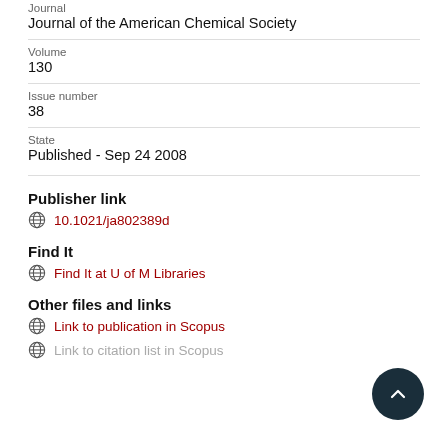Journal
Journal of the American Chemical Society
Volume
130
Issue number
38
State
Published - Sep 24 2008
Publisher link
10.1021/ja802389d
Find It
Find It at U of M Libraries
Other files and links
Link to publication in Scopus
Link to citation list in Scopus